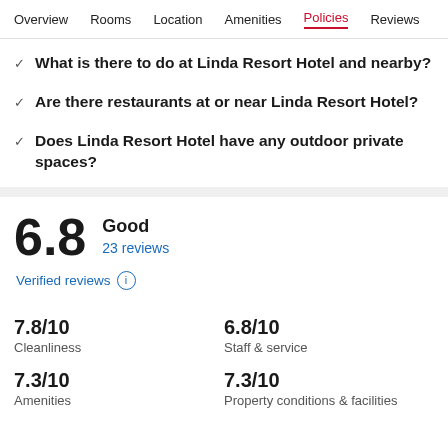Overview | Rooms | Location | Amenities | Policies | Reviews
What is there to do at Linda Resort Hotel and nearby?
Are there restaurants at or near Linda Resort Hotel?
Does Linda Resort Hotel have any outdoor private spaces?
6.8
Good
23 reviews
Verified reviews
7.8/10 Cleanliness
6.8/10 Staff & service
7.3/10 Amenities
7.3/10 Property conditions & facilities